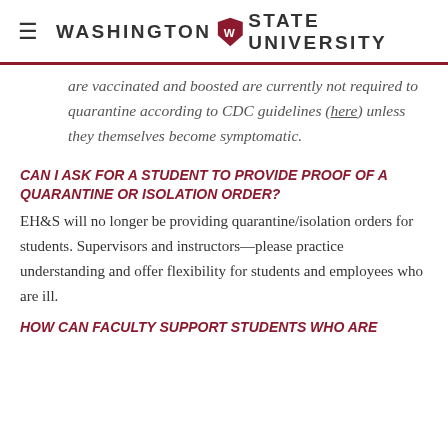Washington State University
...when they are exposed, individuals who are vaccinated and boosted are currently not required to quarantine according to CDC guidelines (here) unless they themselves become symptomatic.
CAN I ASK FOR A STUDENT TO PROVIDE PROOF OF A QUARANTINE OR ISOLATION ORDER?
EH&S will no longer be providing quarantine/isolation orders for students. Supervisors and instructors—please practice understanding and offer flexibility for students and employees who are ill.
HOW CAN FACULTY SUPPORT STUDENTS WHO ARE